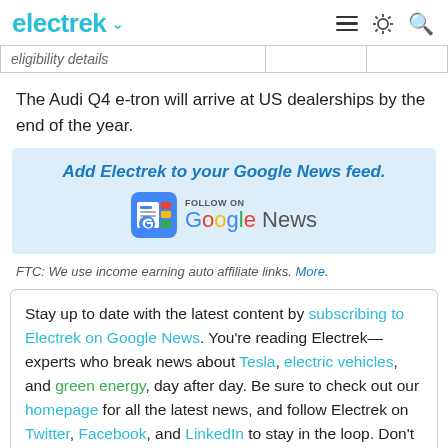electrek
| eligibility details |
The Audi Q4 e-tron will arrive at US dealerships by the end of the year.
[Figure (infographic): Add Electrek to your Google News feed. Follow on Google News button with Google News logo.]
FTC: We use income earning auto affiliate links. More.
Stay up to date with the latest content by subscribing to Electrek on Google News. You're reading Electrek—experts who break news about Tesla, electric vehicles, and green energy, day after day. Be sure to check out our homepage for all the latest news, and follow Electrek on Twitter, Facebook, and LinkedIn to stay in the loop. Don't know where to start? Check out our